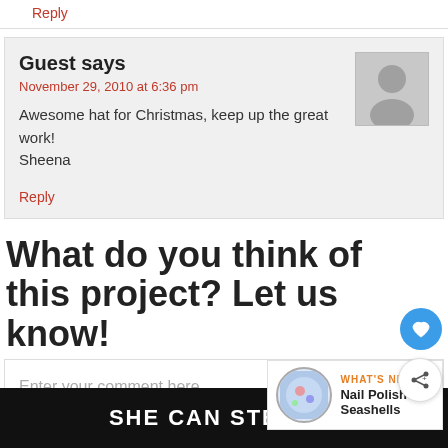Reply
Guest says
November 29, 2010 at 6:36 pm
Awesome hat for Christmas, keep up the great work!
Sheena
Reply
What do you think of this project? Let us know!
Enter your comment here...
WHAT'S NEXT → Nail Polish Seashells
SHE CAN STEM